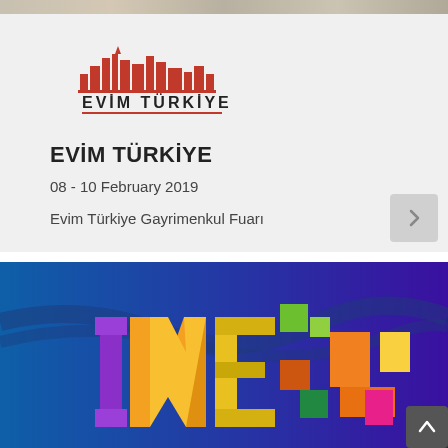[Figure (photo): Cropped top banner image, partially visible]
[Figure (logo): Evim Türkiye logo with red city skyline silhouette and text 'EVİM TÜRKİYE']
EVİM TÜRKİYE
08 - 10 February 2019
Evim Türkiye Gayrimenkul Fuarı
[Figure (photo): Colorful trade fair / IMDEX-style logo graphic on blue-purple gradient background with orange, yellow, green, pink colored letters forming 'IME' style letters]
IMDEX